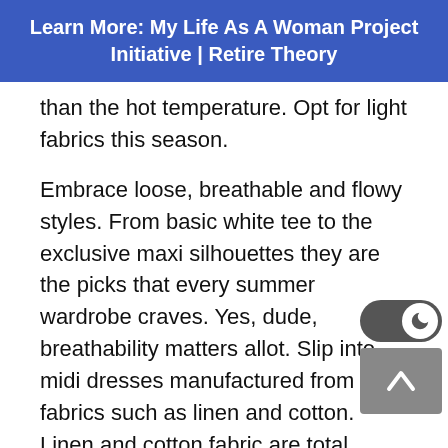Learn More: My Life As A Woman Project Initiative | Retire Theory
than the hot temperature. Opt for light fabrics this season.
Embrace loose, breathable and flowy styles. From basic white tee to the exclusive maxi silhouettes they are the picks that every summer wardrobe craves. Yes, dude, breathability matters allot. Slip into midi dresses manufactured from light fabrics such as linen and cotton. Linen and cotton fabric are total savage this summer season. Linen and cotton can take you through the day. Light colours specifically pink, white, yellow are ideal for summer and keep you uber-stylish and cool.